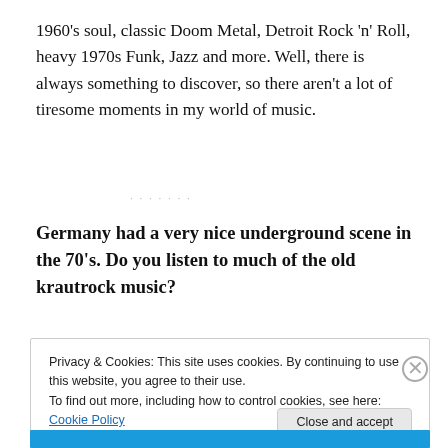1960's soul, classic Doom Metal, Detroit Rock 'n' Roll, heavy 1970s Funk, Jazz and more. Well, there is always something to discover, so there aren't a lot of tiresome moments in my world of music.
Germany had a very nice underground scene in the 70's. Do you listen to much of the old krautrock music?
Privacy & Cookies: This site uses cookies. By continuing to use this website, you agree to their use.
To find out more, including how to control cookies, see here: Cookie Policy
Close and accept